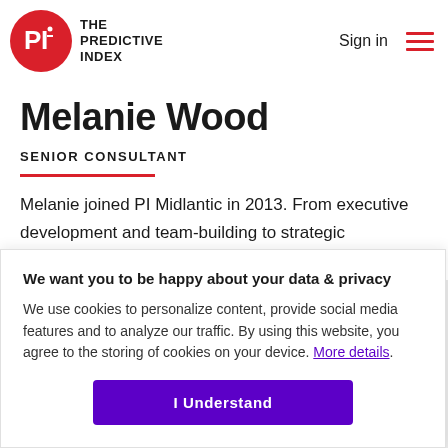[Figure (logo): The Predictive Index logo — red circle with PI text and wordmark THE PREDICTIVE INDEX]
Sign in
Melanie Wood
SENIOR CONSULTANT
Melanie joined PI Midlantic in 2013. From executive development and team-building to strategic optimization, Melanie's the go-to trainer due to her
We want you to be happy about your data & privacy

We use cookies to personalize content, provide social media features and to analyze our traffic. By using this website, you agree to the storing of cookies on your device. More details.

I Understand